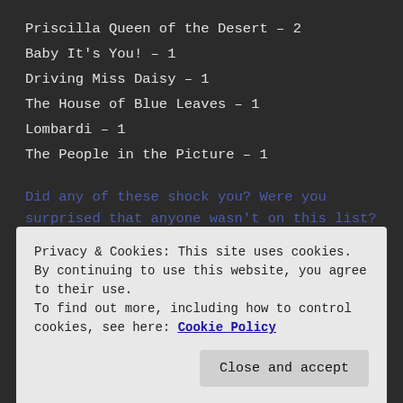Priscilla Queen of the Desert – 2
Baby It's You! – 1
Driving Miss Daisy – 1
The House of Blue Leaves – 1
Lombardi – 1
The People in the Picture – 1
Did any of these shock you?  Were you surprised that anyone wasn't on this list?  Were you surprised they were?  Let me hear ya!
Privacy & Cookies: This site uses cookies. By continuing to use this website, you agree to their use.
To find out more, including how to control cookies, see here: Cookie Policy